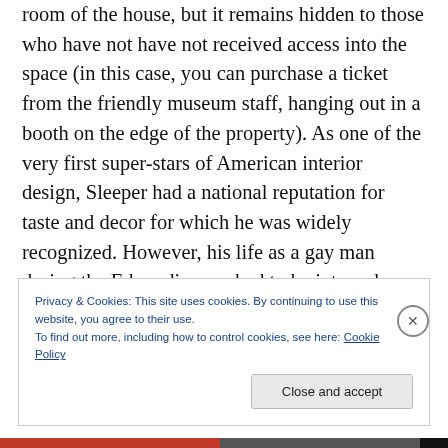room of the house, but it remains hidden to those who have not have not received access into the space (in this case, you can purchase a ticket from the friendly museum staff, hanging out in a booth on the edge of the property). As one of the very first super-stars of American interior design, Sleeper had a national reputation for taste and decor for which he was widely recognized. However, his life as a gay man during the Edwardian era had to be interred, hidden away. For this reason, when I visited Beauport in June, during Pride month, I decided to take
Privacy & Cookies: This site uses cookies. By continuing to use this website, you agree to their use.
To find out more, including how to control cookies, see here: Cookie Policy